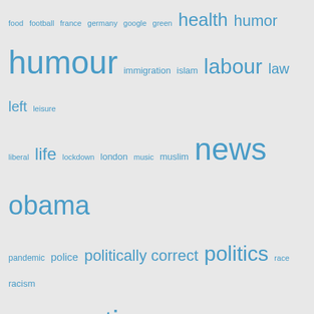[Figure (other): Tag cloud with words in varying sizes in blue: food football france germany google green health humor humour immigration islam labour law left leisure liberal life lockdown london music muslim news obama pandemic police politically correct politics race racism religion russia satire school science scientists sex sport sports sweden syria technology trump ukip university usa vaccine war]
BLOG ARCHIVES
Select Month (dropdown)
CATEGORIES
africa (9)
america (70)
blog (4)
britain (170)